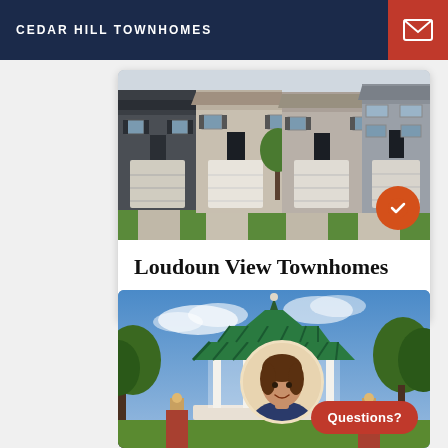CEDAR HILL TOWNHOMES
[Figure (photo): Row of townhomes with garage doors, stone and siding facades, green landscaping]
Loudoun View Townhomes
Sterling, VA
[Figure (photo): Gazebo or community entrance building with green roof, columns, trees, and blue sky background. Agent portrait circle overlay. Questions? button.]